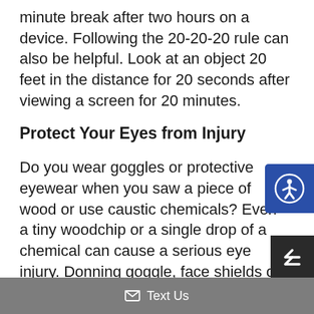minute break after two hours on a device. Following the 20-20-20 rule can also be helpful. Look at an object 20 feet in the distance for 20 seconds after viewing a screen for 20 minutes.
Protect Your Eyes from Injury
Do you wear goggles or protective eyewear when you saw a piece of wood or use caustic chemicals? Even a tiny woodchip or a single drop of a chemical can cause a serious eye injury. Donning goggle, face shields or safety glasses before you start a project can help you avoid permanent damage to your eyes.
✉ Text Us